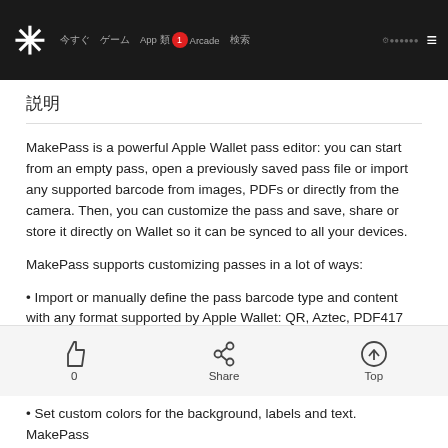App Store navigation header with logo, menu items, and hamburger icon
説明
MakePass is a powerful Apple Wallet pass editor: you can start from an empty pass, open a previously saved pass file or import any supported barcode from images, PDFs or directly from the camera. Then, you can customize the pass and save, share or store it directly on Wallet so it can be synced to all your devices.
MakePass supports customizing passes in a lot of ways:
• Import or manually define the pass barcode type and content with any format supported by Apple Wallet: QR, Aztec, PDF417 and Code 128 with text payloads.
[Figure (other): Bottom action bar with thumbs up (0), Share, and Top buttons]
• Set custom colors for the background, labels and text. MakePass